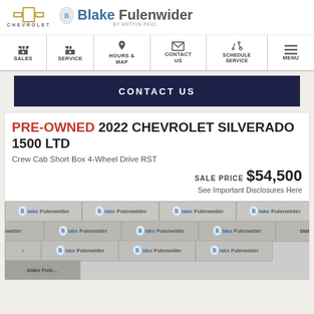Blake Fulenwider Chevrolet
[Figure (screenshot): Navigation bar with icons for SALES, SERVICE, HOURS & MAP, CONTACT US, SCHEDULE SERVICE, MENU]
CONTACT US
PRE-OWNED 2022 CHEVROLET SILVERADO 1500 LTD
Crew Cab Short Box 4-Wheel Drive RST
SALE PRICE $54,500
See Important Disclosures Here
[Figure (photo): Repeated Blake Fulenwider watermark/logo tiles covering vehicle photo area]